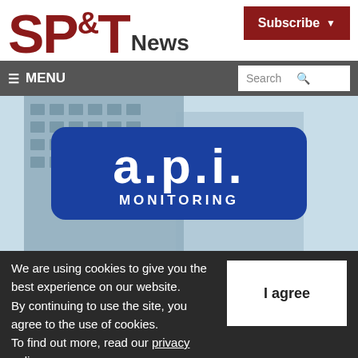[Figure (logo): SP&T News logo in dark red with 'News' in gray]
[Figure (logo): Subscribe button with dark red background and white text and dropdown arrow]
≡ MENU
[Figure (photo): a.p.i. MONITORING logo on blue rounded rectangle badge over building background]
We are using cookies to give you the best experience on our website.
By continuing to use the site, you agree to the use of cookies.
To find out more, read our privacy policy.
I agree